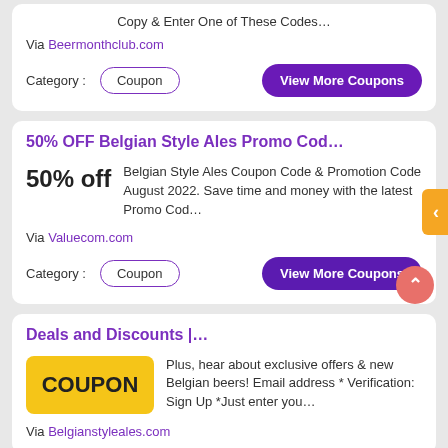Copy & Enter One of These Codes…
Via Beermonthclub.com
Category : Coupon  View More Coupons
50% OFF Belgian Style Ales Promo Cod…
50% off
Belgian Style Ales Coupon Code & Promotion Code August 2022. Save time and money with the latest Promo Cod…
Via Valuecom.com
Category : Coupon  View More Coupons
Deals and Discounts |…
COUPON
Plus, hear about exclusive offers & new Belgian beers! Email address * Verification: Sign Up *Just enter you…
Via Belgianstyleales.com